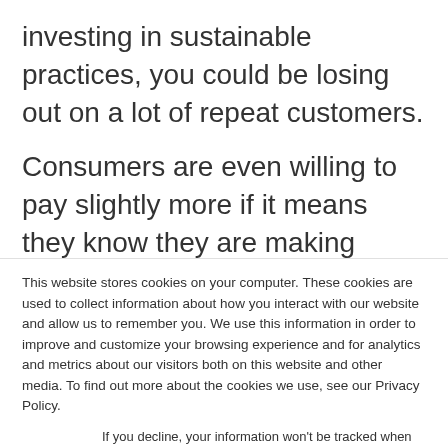investing in sustainable practices, you could be losing out on a lot of repeat customers.
Consumers are even willing to pay slightly more if it means they know they are making choices that positively impact the environment. Thirty-five
This website stores cookies on your computer. These cookies are used to collect information about how you interact with our website and allow us to remember you. We use this information in order to improve and customize your browsing experience and for analytics and metrics about our visitors both on this website and other media. To find out more about the cookies we use, see our Privacy Policy.
If you decline, your information won't be tracked when you visit this website. A single cookie will be used in your browser to remember your preference not to be tracked.